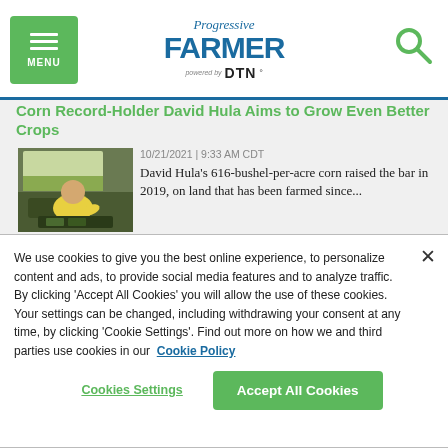Progressive FARMER powered by DTN
Corn Record-Holder David Hula Aims to Grow Even Better Crops
[Figure (photo): Man in yellow shirt sitting in farm equipment cab]
10/21/2021 | 9:33 AM CDT
David Hula's 616-bushel-per-acre corn raised the bar in 2019, on land that has been farmed since...
We use cookies to give you the best online experience, to personalize content and ads, to provide social media features and to analyze traffic. By clicking 'Accept All Cookies' you will allow the use of these cookies. Your settings can be changed, including withdrawing your consent at any time, by clicking 'Cookie Settings'. Find out more on how we and third parties use cookies in our Cookie Policy
Cookies Settings
Accept All Cookies